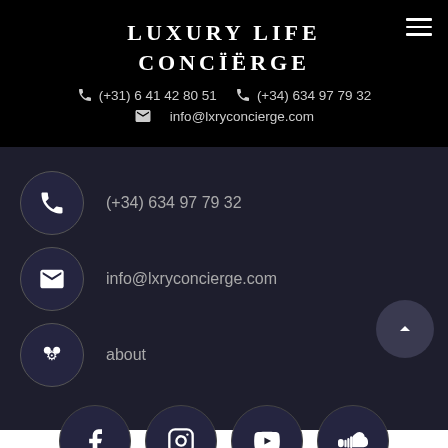LUXURY LIFE CONCÏËRGE
(+31) 6 41 42 80 51  (+34) 634 97 79 32
info@lxryconcierge.com
(+34) 634 97 79 32
info@lxryconcierge.com
about
[Figure (other): Social media icons row: Facebook, Instagram, YouTube, SoundCloud]